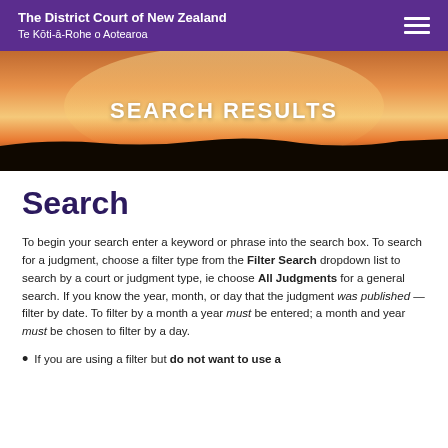The District Court of New Zealand
Te Kōti-ā-Rohe o Aotearoa
[Figure (photo): Sunset landscape hero banner with text SEARCH RESULTS]
Search
To begin your search enter a keyword or phrase into the search box. To search for a judgment, choose a filter type from the Filter Search dropdown list to search by a court or judgment type, ie choose All Judgments for a general search. If you know the year, month, or day that the judgment was published — filter by date. To filter by a month a year must be entered; a month and year must be chosen to filter by a day.
If you are using a filter but do not want to use a